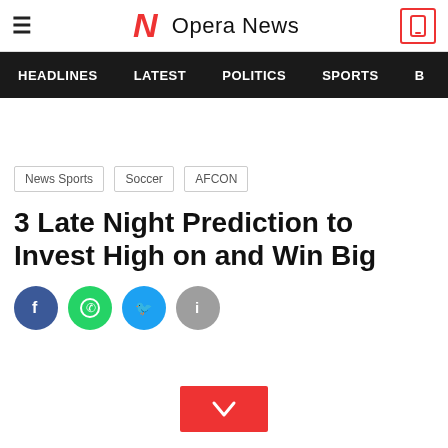Opera News
HEADLINES  LATEST  POLITICS  SPORTS
News Sports
Soccer
AFCON
3 Late Night Prediction to Invest High on and Win Big
[Figure (infographic): Social sharing icons: Facebook, WhatsApp, Twitter, Info]